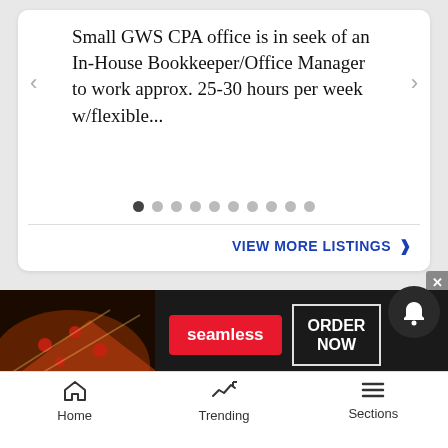Small GWS CPA office is in seek of an In-House Bookkeeper/Office Manager to work approx. 25-30 hours per week w/flexible...
VIEW MORE LISTINGS ›
YOUR AD HERE »
[Figure (screenshot): Seamless food delivery advertisement banner showing pizza slices, Seamless logo on red background, and ORDER NOW button]
Home   Trending   Sections